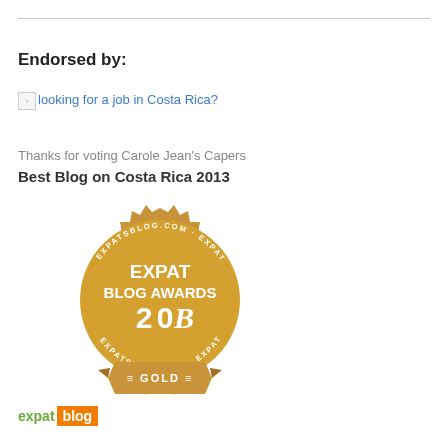Endorsed by:
[Figure (other): Broken image icon followed by link text 'looking for a job in Costa Rica?']
Thanks for voting Carole Jean's Capers
Best Blog on Costa Rica 2013
[Figure (illustration): Gold circular badge with gear-like border showing 'EXPAT BLOG AWARDS 2013' text and 'GOLD' ribbon at bottom, with 'EXPATSBLOG.COM' repeated around the border]
[Figure (logo): Expat Blog logo: green text 'expat' followed by orange rectangle with white text 'blog']